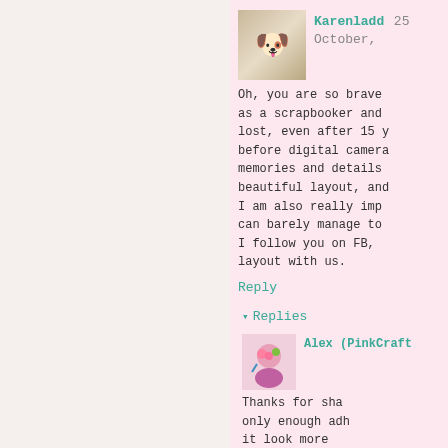Karenladd 25 October,
Oh, you are so brave as a scrapbooker and lost, even after 15 y before digital camera memories and details beautiful layout, and I am also really imp can barely manage to I follow you on FB, layout with us.
Reply
▾ Replies
Alex (PinkCraft
Thanks for sha only enough adh it look more alive, but ones felt that ever journaling isn